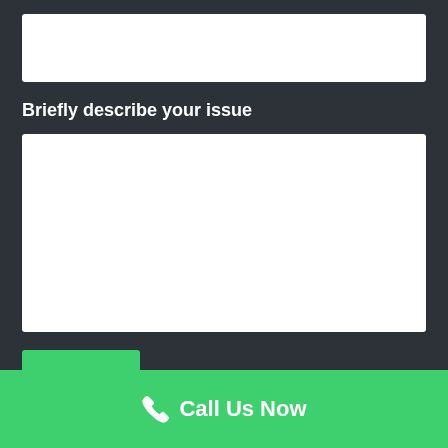[Figure (screenshot): Empty white input text box at top of form]
Briefly describe your issue
[Figure (screenshot): Large empty white textarea for describing the issue]
SUBMIT
Call Us Now